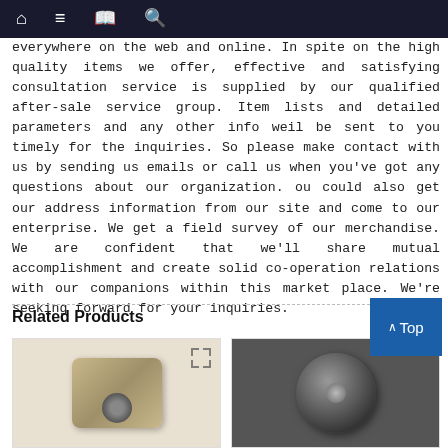Navigation bar with home, menu, book, and search icons
everywhere on the web and online. In spite on the high quality items we offer, effective and satisfying consultation service is supplied by our qualified after-sale service group. Item lists and detailed parameters and any other info weil be sent to you timely for the inquiries. So please make contact with us by sending us emails or call us when you've got any questions about our organization. ou could also get our address information from our site and come to our enterprise. We get a field survey of our merchandise. We are confident that we'll share mutual accomplishment and create solid co-operation relations with our companions within this market place. We're seeking forward for your inquiries.
Related Products
[Figure (photo): Product image 1 - metal hardware part with brownish/beige background]
[Figure (photo): Product image 2 - circular dark metal disk/bearing component]